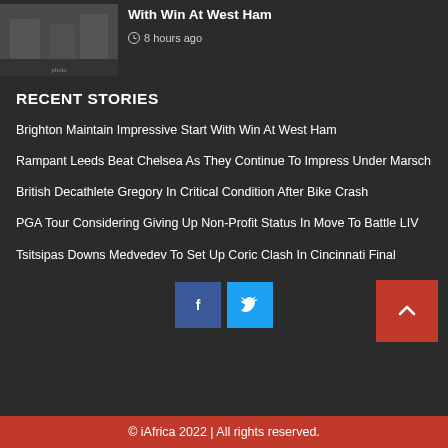[Figure (photo): Sports photo showing football/soccer players in dark jerseys]
With Win At West Ham
8 hours ago
RECENT STORIES
Brighton Maintain Impressive Start With Win At West Ham
Rampant Leeds Beat Chelsea As They Continue To Impress Under Marsch
British Decathlete Gregory In Critical Condition After Bike Crash
PGA Tour Considering Giving Up Non-Profit Status In Move To Battle LIV
Tsitsipas Downs Medvedev To Set Up Coric Clash In Cincinnati Final
© iAfrica 2022 | All rights reserved.